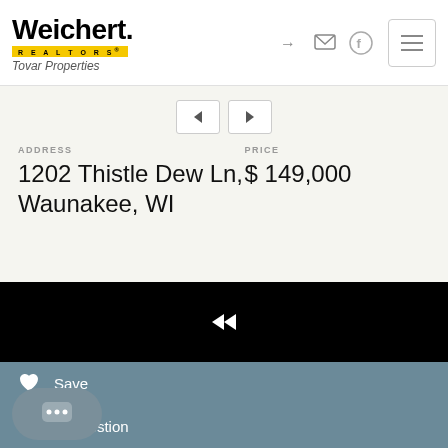[Figure (logo): Weichert Realtors Tovar Properties logo with yellow REALTORS banner]
ADDRESS
PRICE
1202 Thistle Dew Ln, Waunakee, WI
$ 149,000
[Figure (screenshot): Black video/media player area with rewind icon]
Save
Chat with us now
gent a question